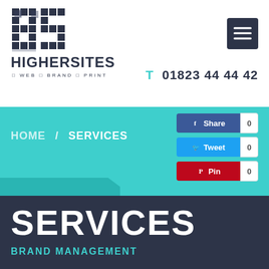[Figure (logo): HigherSites logo: pixel/block style HS monogram above company name HIGHERSITES with tagline WEB BRAND PRINT]
T  01823 44 44 42
[Figure (other): Dark grey menu/hamburger button icon]
HOME  /  SERVICES
[Figure (infographic): Social share buttons: Facebook Share 0, Twitter Tweet 0, Pinterest Pin 0]
SERVICES
BRAND MANAGEMENT